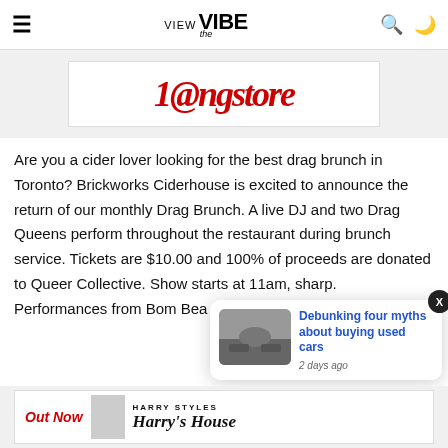VIEW the VIBE
[Figure (logo): Partially visible advertisement banner with red stylized logo text at top of content area]
Are you a cider lover looking for the best drag brunch in Toronto? Brickworks Ciderhouse is excited to announce the return of our monthly Drag Brunch. A live DJ and two Drag Queens perform throughout the restaurant during brunch service. Tickets are $10.00 and 100% of proceeds are donated to Queer Collective. Show starts at 11am, sharp. Performances from Bom Bea & Helena Poison.
[Figure (screenshot): Notification popup: 'Debunking four myths about buying used cars' with thumbnail of car interior, dated '2 days ago']
[Figure (screenshot): Bottom advertisement banner showing 'Out Now' with Harry Styles Harry's House album artwork]